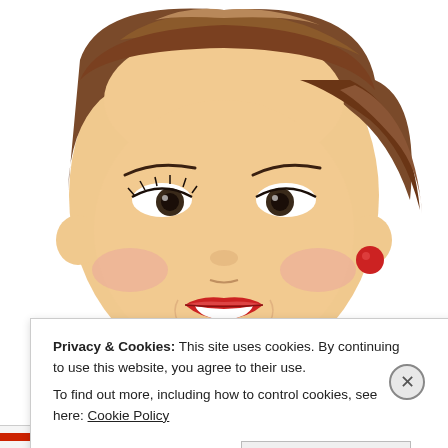[Figure (illustration): Vintage retro illustration of a smiling woman with styled auburn/blonde hair, red lipstick, rosy cheeks, dark eye make-up, and a red round earring. Close-up portrait view against a white background.]
Privacy & Cookies: This site uses cookies. By continuing to use this website, you agree to their use.
To find out more, including how to control cookies, see here: Cookie Policy
Close and accept